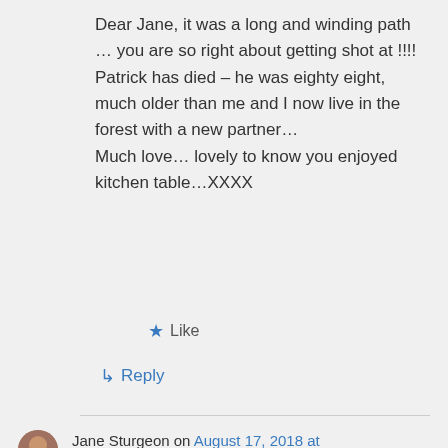Dear Jane, it was a long and winding path … you are so right about getting shot at !!!! Patrick has died – he was eighty eight, much older than me and I now live in the forest with a new partner… Much love… lovely to know you enjoyed kitchen table…XXXX
★ Like
↳ Reply
Jane Sturgeon on August 17, 2018 at 8:31 pm
I am so sorry, my love. I know this is slightly off piste, but it just goes to